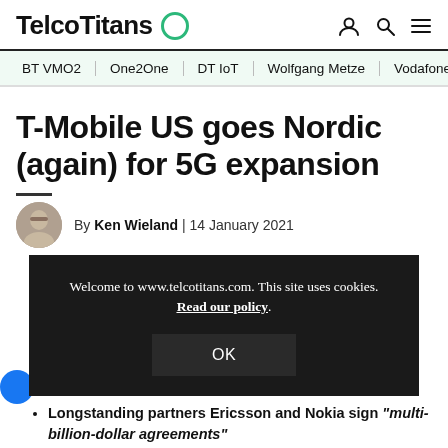TelcoTitans
BT VMO2 | One2One | DT IoT | Wolfgang Metze | Vodafone
T-Mobile US goes Nordic (again) for 5G expansion
By Ken Wieland | 14 January 2021
Welcome to www.telcotitans.com. This site uses cookies. Read our policy.
Longstanding partners Ericsson and Nokia sign "multi-billion-dollar agreements"